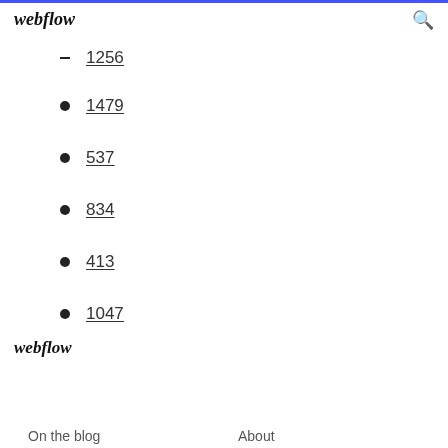webflow [search icon]
1256
1479
537
834
413
1047
webflow
On the blog
About